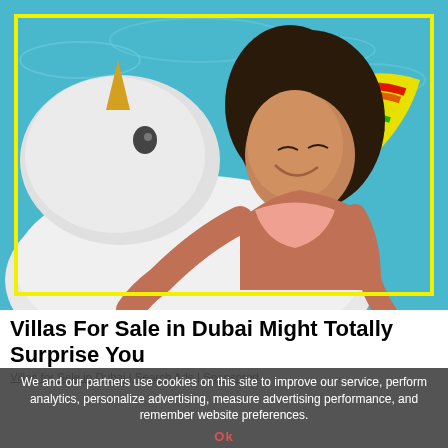[Figure (photo): Woman in pink bikini hugging a large inflatable white unicorn pool float in a bright blue swimming pool. The unicorn has a rainbow wing. The image is framed with a bright yellow border.]
Villas For Sale in Dubai Might Totally Surprise You
Villas for Sale in Dubai | Search Ads | Sponsored
We and our partners use cookies on this site to improve our service, perform analytics, personalize advertising, measure advertising performance, and remember website preferences.
Ok